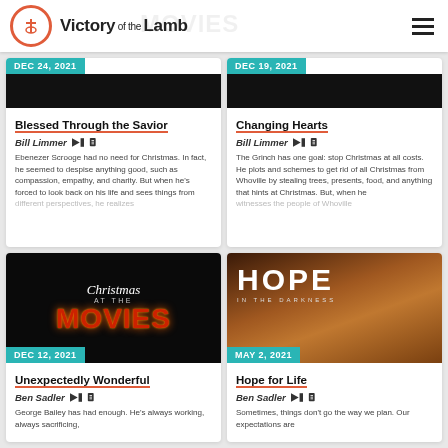Victory of the Lamb
[Figure (screenshot): Card: DEC 24, 2021 - Blessed Through the Savior]
[Figure (screenshot): Card: DEC 19, 2021 - Changing Hearts]
[Figure (illustration): Christmas at the Movies sermon series graphic - DEC 12, 2021 - Unexpectedly Wonderful]
[Figure (photo): Hope in the Darkness graphic - MAY 2, 2021 - Hope for Life]